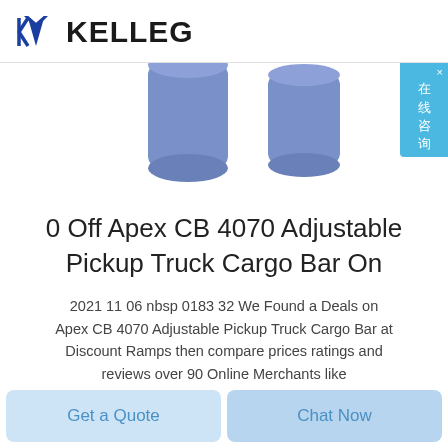KELLEG
[Figure (photo): Product photo showing two blue cylindrical cargo bar end caps/pins against a white background, partially cropped at top]
0 Off Apex CB 4070 Adjustable Pickup Truck Cargo Bar On
2021 11 06 nbsp 0183 32 We Found a Deals on Apex CB 4070 Adjustable Pickup Truck Cargo Bar at Discount Ramps then compare prices ratings and reviews over 90 Online Merchants like...